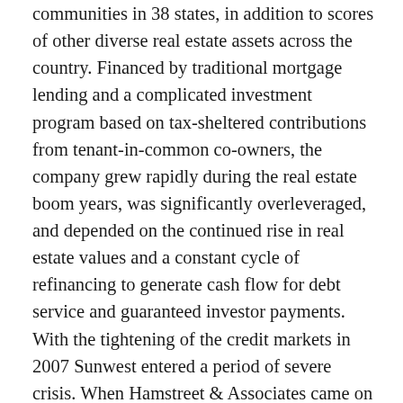communities in 38 states, in addition to scores of other diverse real estate assets across the country. Financed by traditional mortgage lending and a complicated investment program based on tax-sheltered contributions from tenant-in-common co-owners, the company grew rapidly during the real estate boom years, was significantly overleveraged, and depended on the continued rise in real estate values and a constant cycle of refinancing to generate cash flow for debt service and guaranteed investor payments. With the tightening of the credit markets in 2007 Sunwest entered a period of severe crisis. When Hamstreet & Associates came on board as Chief Restructuring Officer and advisors in November 2008, Sunwest had defaulted on approximately $1 billion of debt, halted most loan and investor payments, and deeply antagonized its 100 lenders and 1,500 investors.